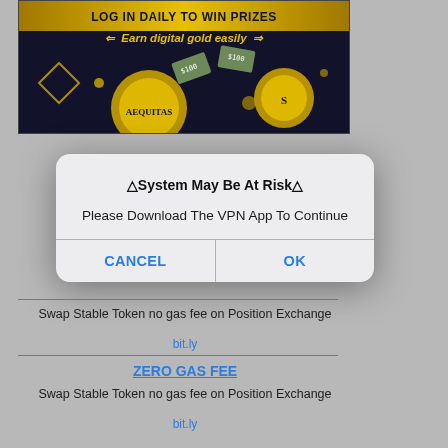[Figure (screenshot): Mobile app advertisement banner with dark background showing 'LOG IN DAILY TO WIN PRIZES' ribbon and 'Earn digital gold easily' text with coins and currency graphics]
[Figure (screenshot): iOS-style system alert dialog with title '⚠System May Be At Risk⚠', body text 'Please Download The VPN App To Continue', and two buttons: CANCEL and OK]
Swap Stable Token no gas fee on Position Exchange
bit.ly
ZERO GAS FEE
Swap Stable Token no gas fee on Position Exchange
bit.ly